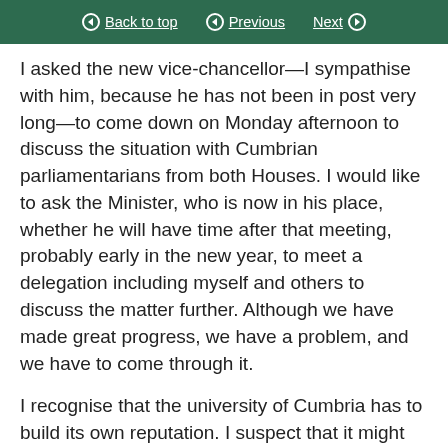Back to top | Previous | Next
I asked the new vice-chancellor—I sympathise with him, because he has not been in post very long—to come down on Monday afternoon to discuss the situation with Cumbrian parliamentarians from both Houses. I would like to ask the Minister, who is now in his place, whether he will have time after that meeting, probably early in the new year, to meet a delegation including myself and others to discuss the matter further. Although we have made great progress, we have a problem, and we have to come through it.
I recognise that the university of Cumbria has to build its own reputation. I suspect that it might be many years before it has the reputation that Oxford has, but that is what we must try to achieve. We